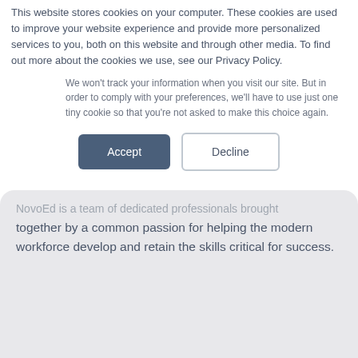This website stores cookies on your computer. These cookies are used to improve your website experience and provide more personalized services to you, both on this website and through other media. To find out more about the cookies we use, see our Privacy Policy.
We won't track your information when you visit our site. But in order to comply with your preferences, we'll have to use just one tiny cookie so that you're not asked to make this choice again.
Accept | Decline
NovoEd is a team of dedicated professionals brought together by a common passion for helping the modern workforce develop and retain the skills critical for success.